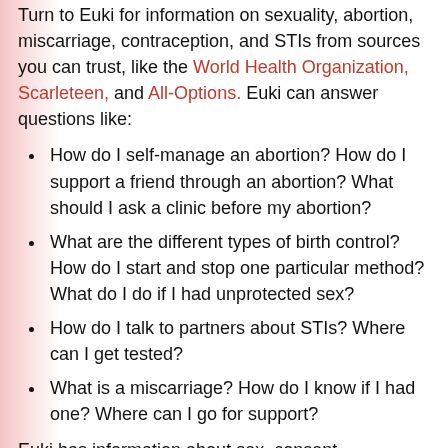Turn to Euki for information on sexuality, abortion, miscarriage, contraception, and STIs from sources you can trust, like the World Health Organization, Scarleteen, and All-Options. Euki can answer questions like:
How do I self-manage an abortion? How do I support a friend through an abortion? What should I ask a clinic before my abortion?
What are the different types of birth control? How do I start and stop one particular method? What do I do if I had unprotected sex?
How do I talk to partners about STIs? Where can I get tested?
What is a miscarriage? How do I know if I had one? Where can I go for support?
Euki has information about sex, consent, pregnancy options, and links to direct service and advocacy organizations, all within the app.
Euki also has a customizable calendar that let's you track everything from your bleeding (spotting, light, medium, and heavy) and period products to your emotions, body symptoms (achey, bloating, cramps…) and sexual activity. You can customize the calendar to track only what's useful for you, and